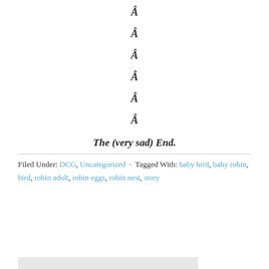Â Â Â Â Â Â
The (very sad) End.
Filed Under: DCG, Uncategorized · Tagged With: baby bird, baby robin, bird, robin adult, robin eggs, robin nest, story